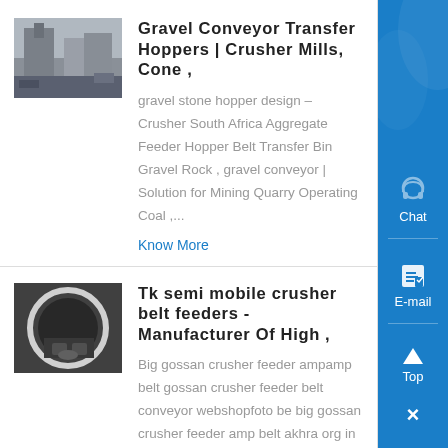[Figure (photo): Industrial crusher/mill facility exterior photo]
Gravel Conveyor Transfer Hoppers | Crusher Mills, Cone ,
gravel stone hopper design – Crusher South Africa Aggregate Feeder Hopper Belt Transfer Bin Gravel Rock , gravel conveyor | Solution for Mining Quarry Operating Coal ,...
Know More
[Figure (photo): Close-up of crusher belt feeder machinery]
Tk semi mobile crusher belt feeders - Manufacturer Of High ,
Big gossan crusher feeder ampamp belt gossan crusher feeder belt conveyor webshopfoto be big gossan crusher feeder amp belt akhra org in crusher is